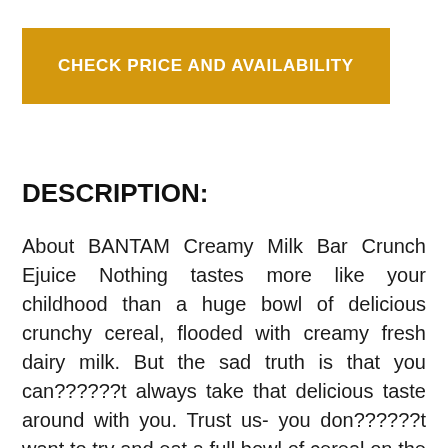[Figure (other): Orange/gold button with white bold text reading CHECK PRICE AND AVAILABILITY]
DESCRIPTION:
About BANTAM Creamy Milk Bar Crunch Ejuice Nothing tastes more like your childhood than a huge bowl of delicious crunchy cereal, flooded with creamy fresh dairy milk. But the sad truth is that you can??????t always take that delicious taste around with you. Trust us- you don??????t want to try and eat a full bowl of cereal on the subway! A tasty cereal bar can be taken around with you wherever you go????? but you can